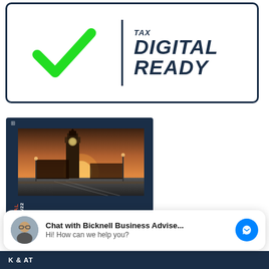[Figure (logo): Tax Digital Ready badge: green checkmark on left, vertical divider, bold italic text 'TAX DIGITAL READY' on right, dark navy border rounded rectangle]
[Figure (photo): Dark navy document thumbnail card showing a photo of Big Ben and Westminster Palace at sunset with rotated text reading 'NCIAL 2021/22' on the left side]
Chat with Bicknell Business Advise... Hi! How can we help you?
[Figure (other): Dark navy bottom strip with partial white text visible: 'K & AT']